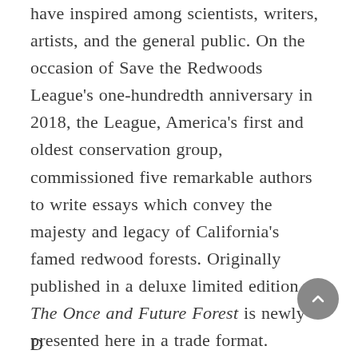have inspired among scientists, writers, artists, and the general public. On the occasion of Save the Redwoods League's one-hundredth anniversary in 2018, the League, America's first and oldest conservation group, commissioned five remarkable authors to write essays which convey the majesty and legacy of California's famed redwood forests. Originally published in a deluxe limited edition, The Once and Future Forest is newly presented here in a trade format.
D...